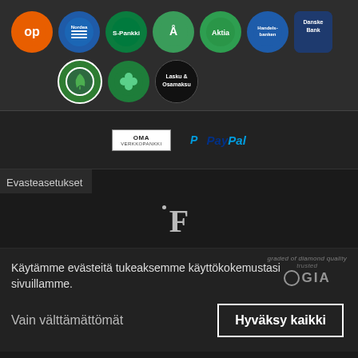[Figure (screenshot): Finnish online banking payment method icons: OP (orange circle), Nordea (blue circle), S-Pankki (green circle), Ålandsbanken (green circle), Aktia (green circle), Handelsbanken (blue circle), Danske Bank (dark blue circle), green leaf icon, S-Pankki clover icon, Lasku & Osamaksu (black circle)]
[Figure (screenshot): OMA Verkkopankki logo and PayPal logo side by side on dark background]
Evasteasetukset
[Figure (logo): Letter F logo with a dot, white on dark background]
Käytämme evästeitä tukeaksemme käyttökokemustasi sivuillamme.
[Figure (logo): GIA logo with diamond quality text overlay]
Vain välttämättömät
Hyväksy kaikki